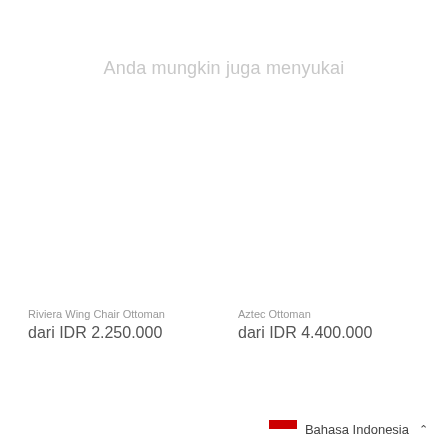Anda mungkin juga menyukai
Riviera Wing Chair Ottoman
dari IDR 2.250.000
Aztec Ottoman
dari IDR 4.400.000
Bahasa Indonesia